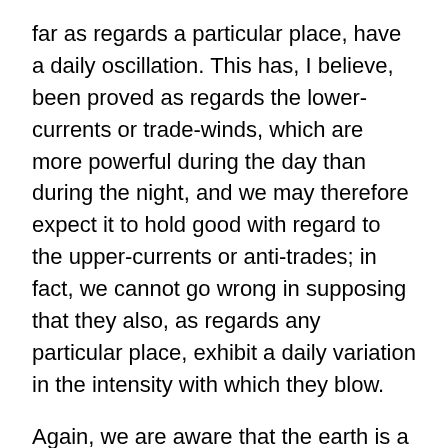far as regards a particular place, have a daily oscillation. This has, I believe, been proved as regards the lower-currents or trade-winds, which are more powerful during the day than during the night, and we may therefore expect it to hold good with regard to the upper-currents or anti-trades; in fact, we cannot go wrong in supposing that they also, as regards any particular place, exhibit a daily variation in the intensity with which they blow.
Again, we are aware that the earth is a magnet. Let us not now concern ourselves about the origin of its magnetism, but rather let us take it as it is. We must next bear in mind that rarefied air is a good conductor of electricity; indeed, according to recent experiments, an extremely good conductor. The return-trades that pass above from the hotter equatorial regions to the poles of cold, consisting of moist rarefied air, are therefore to be regarded in the light